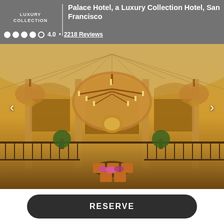Palace Hotel, a Luxury Collection Hotel, San Francisco
4.0 • 2218 Reviews
[Figure (photo): Interior of Palace Hotel San Francisco showing grand ornate lobby with large crystal chandeliers, arched windows, gold architectural details, and seating area with orange chairs and floral arrangements under a glass dome ceiling.]
RESERVE